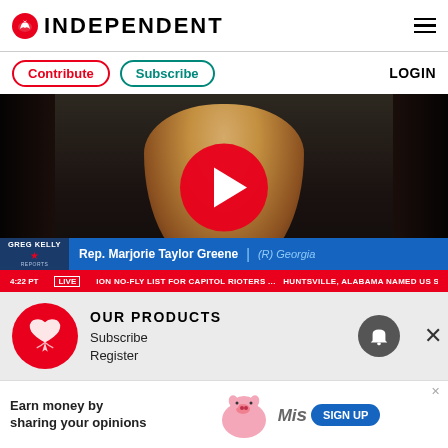INDEPENDENT
Contribute   Subscribe   LOGIN
[Figure (screenshot): Video thumbnail of Rep. Marjorie Taylor Greene on Greg Kelly Reports with red play button overlay. Chyron reads: 'Rep. Marjorie Taylor Greene | (R) Georgia'. Ticker: '4:22 PT  LIVE  ION NO-FLY LIST FOR CAPITOL RIOTERS ...  HUNTSVILLE, ALABAMA NAMED US SPAC']
OUR PRODUCTS
Subscribe
Register
Earn money by sharing your opinions   SIGN UP